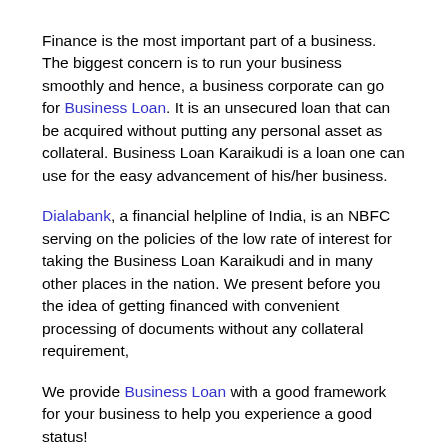Finance is the most important part of a business. The biggest concern is to run your business smoothly and hence, a business corporate can go for Business Loan. It is an unsecured loan that can be acquired without putting any personal asset as collateral. Business Loan Karaikudi is a loan one can use for the easy advancement of his/her business.
Dialabank, a financial helpline of India, is an NBFC serving on the policies of the low rate of interest for taking the Business Loan Karaikudi and in many other places in the nation. We present before you the idea of getting financed with convenient processing of documents without any collateral requirement,
We provide Business Loan with a good framework for your business to help you experience a good status!